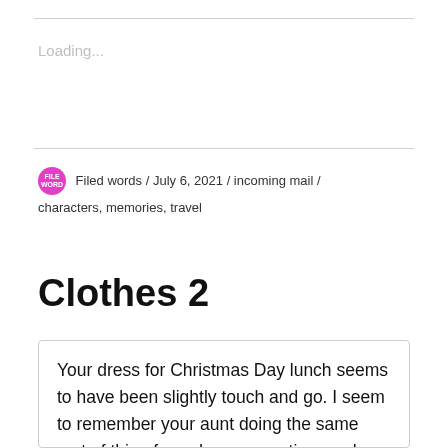Loading...
Filed words / July 6, 2021 / incoming mail / characters, memories, travel
Clothes 2
Your dress for Christmas Day lunch seems to have been slightly touch and go. I seem to remember your aunt doing the same sort of thing for a dance sometimes, when we shared a flat and having to be either pinned